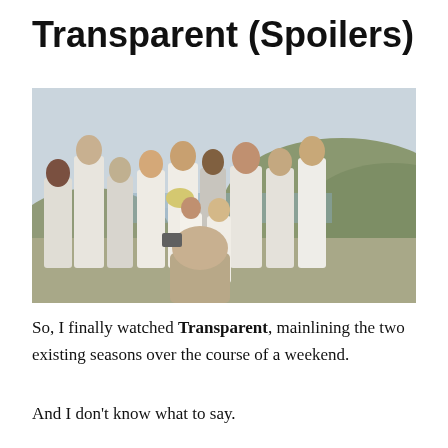Transparent (Spoilers)
[Figure (photo): A group of people mostly dressed in white posing outdoors for a wedding photo, with hills and a lake or river in the background. A photographer is visible from behind in the foreground.]
So, I finally watched Transparent, mainlining the two existing seasons over the course of a weekend.
And I don't know what to say.